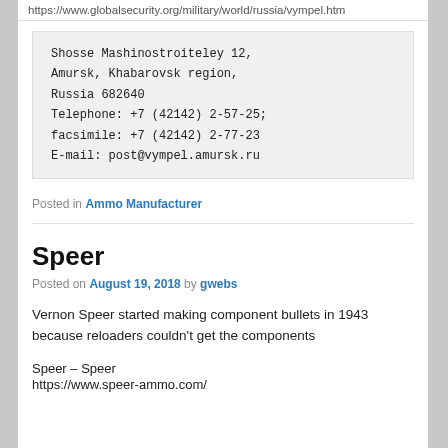https://www.globalsecurity.org/military/world/russia/vympel.htm
Shosse Mashinostroiteley 12, Amursk, Khabarovsk region, Russia 682640
Telephone: +7 (42142) 2-57-25; facsimile: +7 (42142) 2-77-23
E-mail: post@vympel.amursk.ru
Posted in Ammo Manufacturer
Speer
Posted on August 19, 2018 by gwebs
Vernon Speer started making component bullets in 1943 because reloaders couldn't get the components
Speer – Speer
https://www.speer-ammo.com/